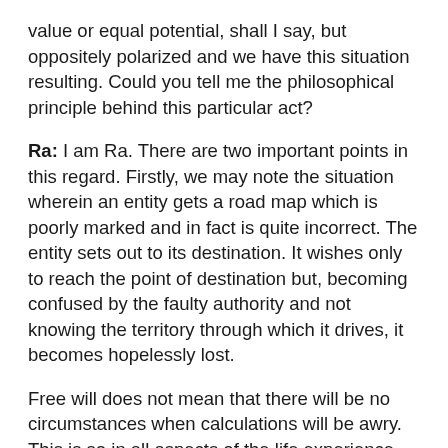value or equal potential, shall I say, but oppositely polarized and we have this situation resulting. Could you tell me the philosophical principle behind this particular act?
Ra: I am Ra. There are two important points in this regard. Firstly, we may note the situation wherein an entity gets a road map which is poorly marked and in fact is quite incorrect. The entity sets out to its destination. It wishes only to reach the point of destination but, becoming confused by the faulty authority and not knowing the territory through which it drives, it becomes hopelessly lost.
Free will does not mean that there will be no circumstances when calculations will be awry. This is so in all aspects of the life experience. Although there are no mistakes, there are surprises.
Secondly, that which we and you do in workings such as this carries a magical charge, if you would